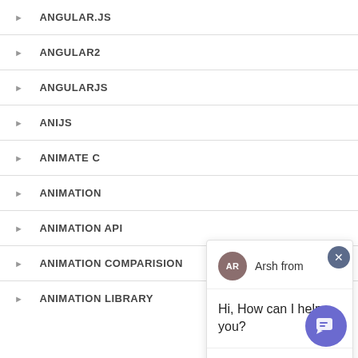ANGULAR.JS
ANGULAR2
ANGULARJS
ANIJS
ANIMATE C
ANIMATION
ANIMATION API
ANIMATION COMPARISION
ANIMATION LIBRARY
[Figure (screenshot): Chat widget popup showing agent 'Arsh from' with avatar 'AR', message 'Hi, How can I help you?', and a text input field with send button. A close (×) button appears on the top right. A purple chat launcher button is at the bottom right.]